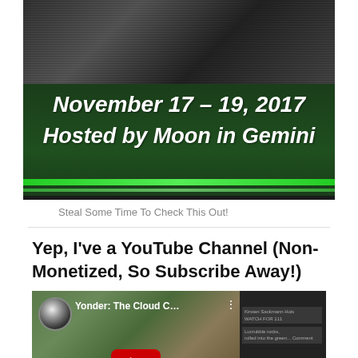[Figure (illustration): Event banner with dark top photo section and green background showing 'November 17 - 19, 2017 Hosted by Moon in Gemini' in bold italic white text with a bright green stripe at bottom]
Steal Some Time To Check This Out!
Yep, I've a YouTube Channel (Non-Monetized, So Subscribe Away!)
[Figure (screenshot): YouTube video thumbnail showing a game scene from 'Yonder: The Cloud C...' with a play button overlay, video avatar in top left corner, and dark sidebar on the right]